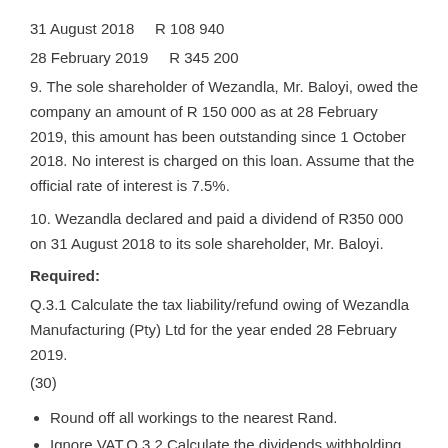31 August 2018    R 108 940
28 February 2019    R 345 200
9. The sole shareholder of Wezandla, Mr. Baloyi, owed the company an amount of R 150 000 as at 28 February 2019, this amount has been outstanding since 1 October 2018. No interest is charged on this loan. Assume that the official rate of interest is 7.5%.
10. Wezandla declared and paid a dividend of R350 000 on 31 August 2018 to its sole shareholder, Mr. Baloyi.
Required:
Q.3.1 Calculate the tax liability/refund owing of Wezandla Manufacturing (Pty) Ltd for the year ended 28 February 2019. (30)
Round off all workings to the nearest Rand.
Ignore VAT.Q.3.2 Calculate the dividends withholding tax paid by Wezandla on dividends and deemed dividends paid during